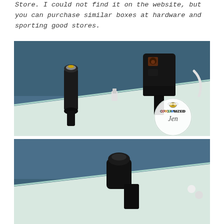Store. I could not find it on the website, but you can purchase similar boxes at hardware and sporting good stores.
[Figure (photo): Close-up photo of cables and adapters stored inside a light-colored box or drawer against a blue background. A circular logo watermark reads 'Organized Jen' with a bee illustration in the lower right corner.]
[Figure (photo): Lower portion of the same or similar photo showing cables stored in a light-colored box against a blue background, cropped at the bottom of the page.]